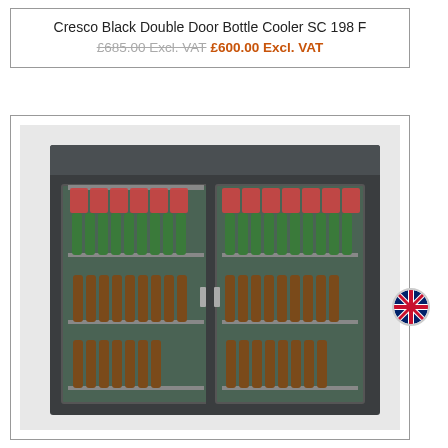Cresco Black Double Door Bottle Cooler SC 198 F
£685.00 Excl. VAT £600.00 Excl. VAT
[Figure (photo): A black double door bottle cooler (Cresco SC 198 F) filled with cans on top shelf and green beer bottles and brown bottles on lower shelves, visible through two glass sliding doors.]